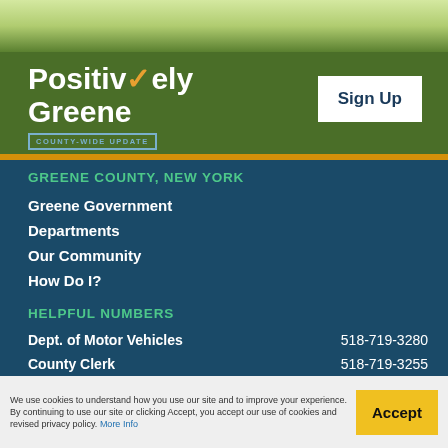[Figure (illustration): Grassy landscape background image at top of page]
Positively Greene
COUNTY-WIDE UPDATE
Sign Up
GREENE COUNTY, NEW YORK
Greene Government
Departments
Our Community
How Do I?
HELPFUL NUMBERS
| Department | Phone |
| --- | --- |
| Dept. of Motor Vehicles | 518-719-3280 |
| County Clerk | 518-719-3255 |
| Public Health | 518-719-3600 |
We use cookies to understand how you use our site and to improve your experience. By continuing to use our site or clicking Accept, you accept our use of cookies and revised privacy policy. More Info
Accept